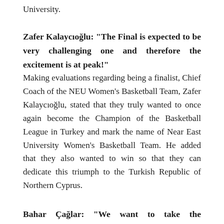University.
Zafer Kalaycıoğlu: “The Final is expected to be very challenging one and therefore the excitement is at peak!”
Making evaluations regarding being a finalist, Chief Coach of the NEU Women’s Basketball Team, Zafer Kalaycıoğlu, stated that they truly wanted to once again become the Champion of the Basketball League in Turkey and mark the name of Near East University Women’s Basketball Team. He added that they also wanted to win so that they can dedicate this triumph to the Turkish Republic of Northern Cyprus.
Bahar Çağlar: “We want to take the Championship Cup to the NEU Museum!”
Also making a statement, the Captain of the NEU Women’s